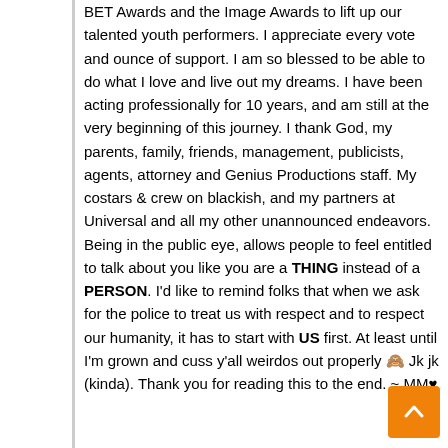BET Awards and the Image Awards to lift up our talented youth performers. I appreciate every vote and ounce of support. I am so blessed to be able to do what I love and live out my dreams. I have been acting professionally for 10 years, and am still at the very beginning of this journey. I thank God, my parents, family, friends, management, publicists, agents, attorney and Genius Productions staff. My costars & crew on blackish, and my partners at Universal and all my other unannounced endeavors. Being in the public eye, allows people to feel entitled to talk about you like you are a THING instead of a PERSON. I'd like to remind folks that when we ask for the police to treat us with respect and to respect our humanity, it has to start with US first. At least until I'm grown and cuss y'all weirdos out properly 🙈 Jk jk (kinda). Thank you for reading this to the end. ~ MM♥